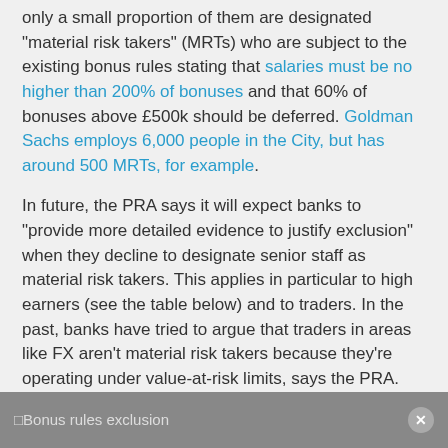only a small proportion of them are designated "material risk takers" (MRTs) who are subject to the existing bonus rules stating that salaries must be no higher than 200% of bonuses and that 60% of bonuses above £500k should be deferred. Goldman Sachs employs 6,000 people in the City, but has around 500 MRTs, for example.
In future, the PRA says it will expect banks to "provide more detailed evidence to justify exclusion" when they decline to designate senior staff as material risk takers. This applies in particular to high earners (see the table below) and to traders. In the past, banks have tried to argue that traders in areas like FX aren't material risk takers because they're operating under value-at-risk limits, says the PRA. These arguments will no longer hold.
Justifying the fact that highly paid employees are not MRTs:
Bonus rules exclusion